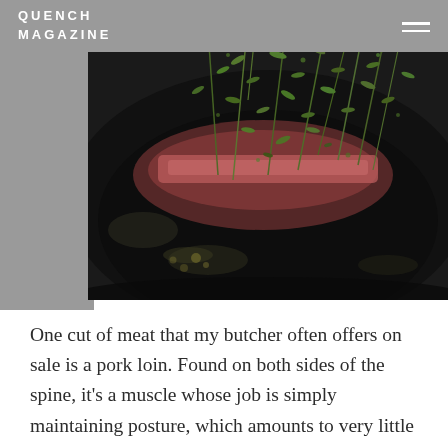QUENCH MAGAZINE
[Figure (photo): A dark cast iron pan with a piece of meat covered in fresh herbs including thyme sprigs and other aromatics, with oil visible in the pan. Dark overhead shot.]
One cut of meat that my butcher often offers on sale is a pork loin. Found on both sides of the spine, it’s a muscle whose job is simply maintaining posture, which amounts to very little work in a quadruped. So, the tenderloin is aptly named. Unlike the leg muscles, the tenderloin never gets a workout ensuring a nice,